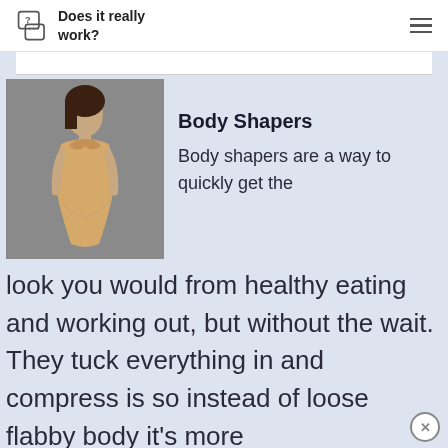Does it really work?
[Figure (photo): Woman wearing a beige/nude body shaper bodysuit, posing against a grey background]
Body Shapers
Body shapers are a way to quickly get the look you would from healthy eating and working out, but without the wait. They tuck everything in and compress is so instead of loose flabby body it’s more taught and appears slimmer. Of course